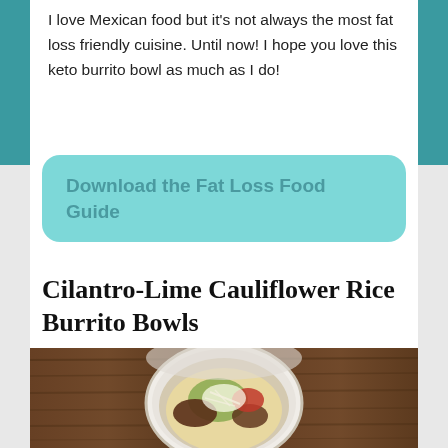I love Mexican food but it's not always the most fat loss friendly cuisine. Until now! I hope you love this keto burrito bowl as much as I do!
Download the Fat Loss Food Guide
Cilantro-Lime Cauliflower Rice Burrito Bowls
[Figure (photo): Overhead view of a white bowl filled with cauliflower rice, shredded beef, guacamole, salsa, and grated cheese on a wooden table]